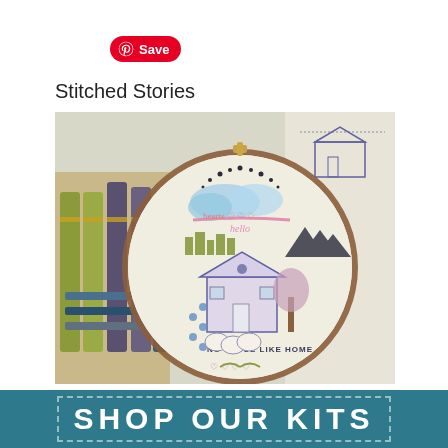[Figure (screenshot): Pinterest Save button with red background and white text]
Stitched Stories
[Figure (photo): Embroidery hoop with 'No Place Like Home' cross-stitch design featuring a house, clouds, flowers, trees, and colorful thread skeins in the background. Additional embroidery patterns visible to the right.]
SHOP OUR KITS